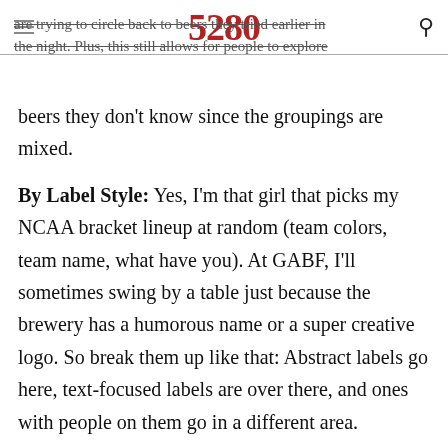5280
are trying to circle back to beers they tried earlier in the night. Plus, this still allows for people to explore beers they don't know since the groupings are mixed.
By Label Style: Yes, I'm that girl that picks my NCAA bracket lineup at random (team colors, team name, what have you). At GABF, I'll sometimes swing by a table just because the brewery has a humorous name or a super creative logo. So break them up like that: Abstract labels go here, text-focused labels are over there, and ones with people on them go in a different area.